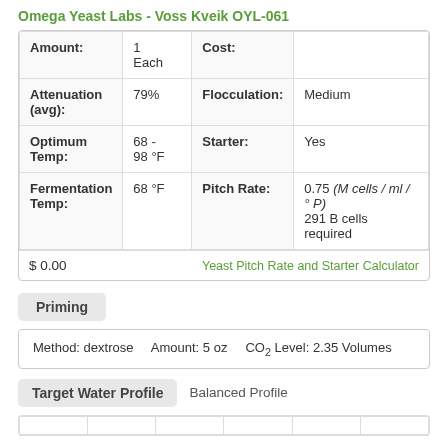Omega Yeast Labs - Voss Kveik OYL-061
| Field | Value | Field | Value |
| --- | --- | --- | --- |
| Amount: | 1 Each | Cost: |  |
| Attenuation (avg): | 79% | Flocculation: | Medium |
| Optimum Temp: | 68 - 98 °F | Starter: | Yes |
| Fermentation Temp: | 68 °F | Pitch Rate: | 0.75 (M cells / ml / °P) 291 B cells required |
$ 0.00    Yeast Pitch Rate and Starter Calculator
Priming
Method: dextrose    Amount: 5 oz    CO2 Level: 2.35 Volumes
Target Water Profile   Balanced Profile